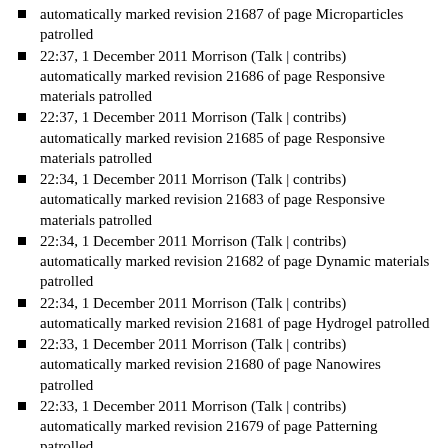automatically marked revision 21687 of page Microparticles patrolled
22:37, 1 December 2011 Morrison (Talk | contribs) automatically marked revision 21686 of page Responsive materials patrolled
22:37, 1 December 2011 Morrison (Talk | contribs) automatically marked revision 21685 of page Responsive materials patrolled
22:34, 1 December 2011 Morrison (Talk | contribs) automatically marked revision 21683 of page Responsive materials patrolled
22:34, 1 December 2011 Morrison (Talk | contribs) automatically marked revision 21682 of page Dynamic materials patrolled
22:34, 1 December 2011 Morrison (Talk | contribs) automatically marked revision 21681 of page Hydrogel patrolled
22:33, 1 December 2011 Morrison (Talk | contribs) automatically marked revision 21680 of page Nanowires patrolled
22:33, 1 December 2011 Morrison (Talk | contribs) automatically marked revision 21679 of page Patterning patrolled
22:32, 1 December 2011 Morrison (Talk | contribs) automatically marked revision 21678 of page Lithography patrolled